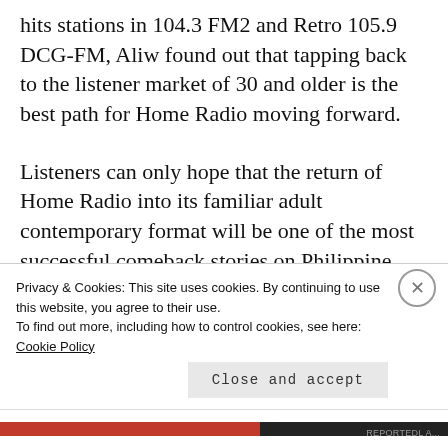hits stations in 104.3 FM2 and Retro 105.9 DCG-FM, Aliw found out that tapping back to the listener market of 30 and older is the best path for Home Radio moving forward.
Listeners can only hope that the return of Home Radio into its familiar adult contemporary format will be one of the most successful comeback stories on Philippine
Privacy & Cookies: This site uses cookies. By continuing to use this website, you agree to their use.
To find out more, including how to control cookies, see here: Cookie Policy